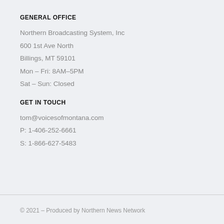GENERAL OFFICE
Northern Broadcasting System, Inc
600 1st Ave North
Billings, MT 59101
Mon – Fri: 8AM–5PM
Sat – Sun: Closed
GET IN TOUCH
tom@voicesofmontana.com
P: 1-406-252-6661
S: 1-866-627-5483
© 2021 – Produced by Northern News Network